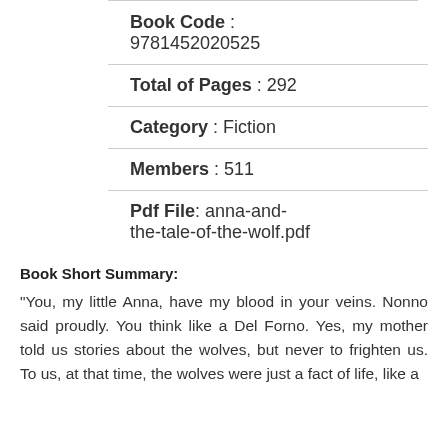Book Code : 9781452020525
Total of Pages : 292
Category : Fiction
Members : 511
Pdf File: anna-and-the-tale-of-the-wolf.pdf
Book Short Summary:
"You, my little Anna, have my blood in your veins. Nonno said proudly. You think like a Del Forno. Yes, my mother told us stories about the wolves, but never to frighten us. To us, at that time, the wolves were just a fact of life, like a